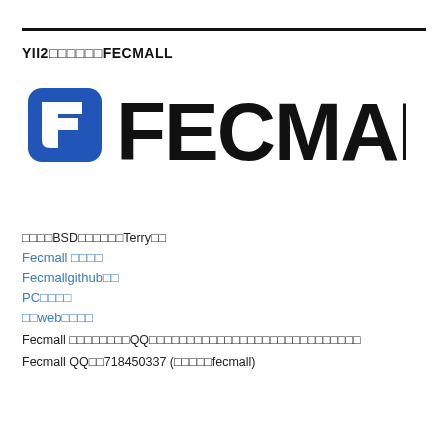YII2□□□□□□FECMALL
[Figure (logo): FECMALL logo with blue stylized F icon and bold black FECMALL text]
□□□□BSD□□□□□□Terry□□
Fecmall □□□□
Fecmallgithub□□
PC□□□□
□□web□□□□
Fecmall □□□□□□□□QQ□□□□□□□□□□□□□□□□□□□□□□□□□□
Fecmall QQ□□718450337 (□□□□□fecmall)